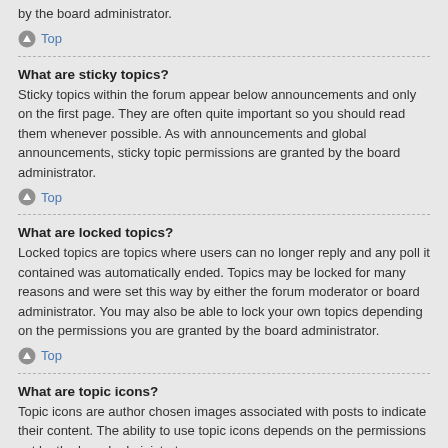by the board administrator.
Top
What are sticky topics?
Sticky topics within the forum appear below announcements and only on the first page. They are often quite important so you should read them whenever possible. As with announcements and global announcements, sticky topic permissions are granted by the board administrator.
Top
What are locked topics?
Locked topics are topics where users can no longer reply and any poll it contained was automatically ended. Topics may be locked for many reasons and were set this way by either the forum moderator or board administrator. You may also be able to lock your own topics depending on the permissions you are granted by the board administrator.
Top
What are topic icons?
Topic icons are author chosen images associated with posts to indicate their content. The ability to use topic icons depends on the permissions set by the board administrator.